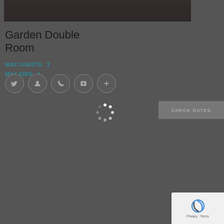[Figure (photo): Hotel room photo partially visible at the top of the page, dark/dimmed]
Garden Double Room
MAX GUESTS:  2
MAX KIDS:  1
[Figure (infographic): Row of five circular icon buttons (social/contact icons) on dark background]
[Figure (infographic): Loading spinner (circular dots) centered on page]
[Figure (other): CHECK DATES button, gray rectangle with text]
[Figure (other): reCAPTCHA badge bottom right corner with Privacy and Terms text]